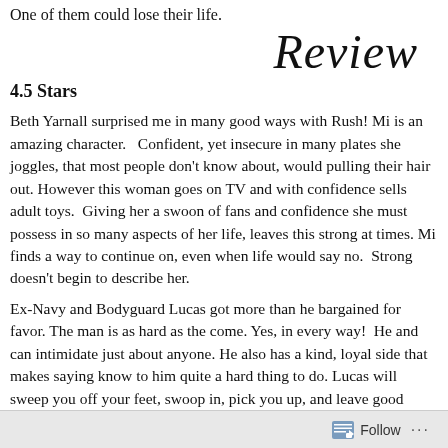One of them could lose their life.
Review
4.5 Stars
Beth Yarnall surprised me in many good ways with Rush! Mi is an amazing character. Confident, yet insecure in many plates she joggles, that most people don't know about, would pulling their hair out. However this woman goes on TV and confidence sells adult toys. Giving her a swoon of fans and she must possess in so many aspects of her life, leaves this str at times. Mi finds a way to continue on, even when life woul Strong doesn't begin to describe her.
Ex-Navy and Bodyguard Lucas got more than he bargained f favor. The man is as hard as the come. Yes, in every way! He and can intimidate just about anyone. He also has a kind, loy makes saying know to him quite a hard thing to do. Lucas wi feet, swoop in, pick you up, and leave good chills going up a
High five to Beth Yarnall! A superb mix of suspense and rom drama that is just as intense as the passion. Plot twist that dro reader fully. Mi and Lucas turn this story into intricate adver
Follow